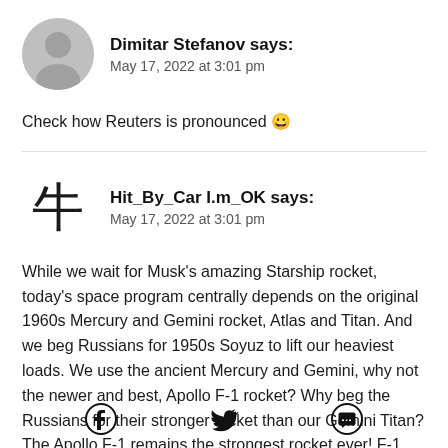[Figure (photo): Circular avatar image with grey background for user Dimitar Stefanov]
Dimitar Stefanov says:
May 17, 2022 at 3:01 pm
Check how Reuters is pronounced 😀
[Figure (illustration): Kanji character avatar for user Hit_By_Car I.m_OK]
Hit_By_Car I.m_OK says:
May 17, 2022 at 3:01 pm
While we wait for Musk's amazing Starship rocket, today's space program centrally depends on the original 1960s Mercury and Gemini rocket, Atlas and Titan. And we beg Russians for 1950s Soyuz to lift our heaviest loads. We use the ancient Mercury and Gemini, why not the newer and best, Apollo F-1 rocket? Why beg the Russians for their stronger rocket than our Gemini Titan? The Apollo F-1 remains the strongest rocket ever! F-1 the only 100% reliable rocket ever! 65 engines, 13 flights, zero F-1 failures! To
[Figure (logo): Facebook icon]
[Figure (logo): Twitter icon]
[Figure (logo): WhatsApp icon]